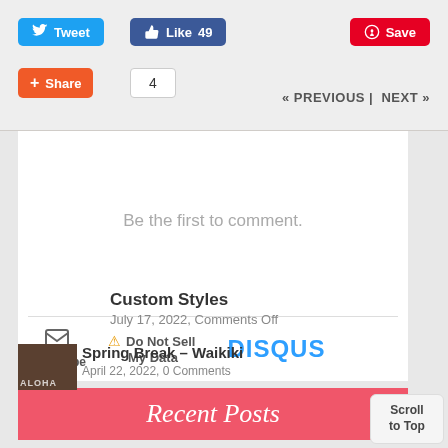[Figure (screenshot): Social sharing buttons: Tweet (blue), Like 49 (dark blue), Save (red), Share (orange), count of 4]
« PREVIOUS |  NEXT »
Be the first to comment.
[Figure (screenshot): Disqus comment section footer with Subscribe, Do Not Sell My Data, and DISQUS logo]
Recent Posts
Custom Styles
July 17, 2022, Comments Off
[Figure (photo): Thumbnail of Spring Break Waikiki post]
Spring Break – Waikiki
April 22, 2022, 0 Comments
Scroll to Top